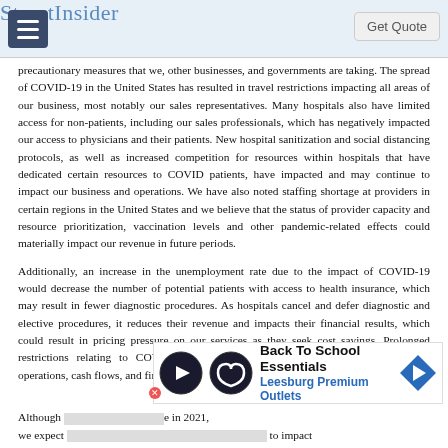StreetInsider
precautionary measures that we, other businesses, and governments are taking. The spread of COVID-19 in the United States has resulted in travel restrictions impacting all areas of our business, most notably our sales representatives. Many hospitals also have limited access for non-patients, including our sales professionals, which has negatively impacted our access to physicians and their patients. New hospital sanitization and social distancing protocols, as well as increased competition for resources within hospitals that have dedicated certain resources to COVID patients, have impacted and may continue to impact our business and operations. We have also noted staffing shortage at providers in certain regions in the United States and we believe that the status of provider capacity and resource prioritization, vaccination levels and other pandemic-related effects could materially impact our revenue in future periods.
Additionally, an increase in the unemployment rate due to the impact of COVID-19 would decrease the number of potential patients with access to health insurance, which may result in fewer diagnostic procedures. As hospitals cancel and defer diagnostic and elective procedures, it reduces their revenue and impacts their financial results, which could result in pricing pressure on our services as they seek cost savings. Prolonged restrictions relating to COVID-19 could adversely affect our revenue, results of operations, cash flows, and financial position.
[Figure (infographic): Advertisement banner for Back To School Essentials at Leesburg Premium Outlets with play button icon, infinity logo, and navigation arrow icon]
Although [partially obscured by ad] e in 2021, we expect [partially obscured by ad] to impact